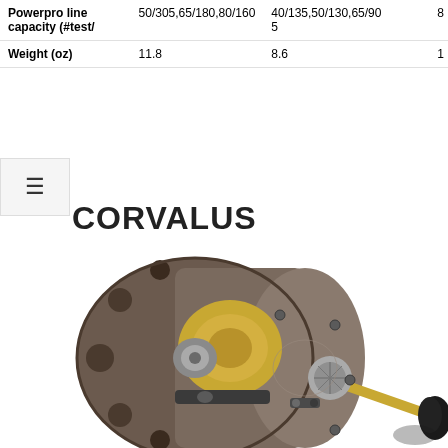|  | Col1 | Col2 | Col3 |
| --- | --- | --- | --- |
| Powerpro line capacity (#test/ | 50/305,65/180,80/160 | 40/135,50/130,65/90 5 | 8 |
| Weight (oz) | 11.8 | 8.6 | 1 |
CORVALUS
[Figure (photo): A Shimano Corvalus baitcasting fishing reel in dark brown/grey with gold accents, showing the spool, side plate, and handle with black knob]